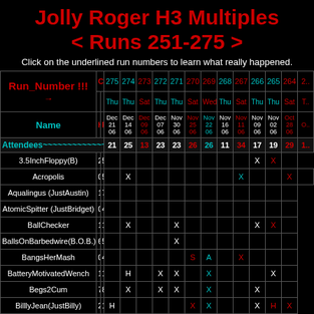Jolly Roger H3 Multiples < Runs 251-275 >
Click on the underlined run numbers to learn what really happened.
| Run_Number | Current | 275 Thu | 274 Thu | 273 Sat | 272 Thu | 271 Thu | 270 Sat | 269 Wed | 268 Thu | 267 Sat | 266 Thu | 265 Thu | 264 Sat |
| --- | --- | --- | --- | --- | --- | --- | --- | --- | --- | --- | --- | --- | --- |
| Attendees |  | 21 | 25 | 13 | 23 | 23 | 26 | 26 | 11 | 34 | 17 | 19 | 29 |
| 3.5InchFloppy(B) | 2 | 53 |  |  |  |  |  |  |  |  |  | X | X |
| Acropolis | 0 | 5 |  | X |  |  |  |  |  |  | X |  |  | X |
| Aqualingus (JustAustin) | 1 | 7 |  |  |  |  |  |  |  |  |  |  |  |
| AtomicSpitter (JustBridget) | 0 | 4 |  |  |  |  |  |  |  |  |  |  |  |
| BallChecker | 1 | 15 |  | X |  |  | X |  |  |  |  | X | X |
| BallsOnBarbedwire(B.O.B.) | 6 | 50 |  |  |  |  | X |  |  |  |  |  |  |
| BangsHerMash | 0 | 4 |  |  |  |  |  | S | A |  | X |  |  |
| BatteryMotivatedWench | 1 | 12 |  | H |  | X | X |  | X |  |  |  | X |
| Begs2Cum | 7 | 85 |  | X |  | X | X |  | X |  |  | X |  |
| BilllyJean(JustBilly) | 2 | 10 | H |  |  |  |  | X | X |  |  | X | H | X |
| BimboOnTheRun | 1 | 11 |  |  |  |  |  |  |  |  |  |  |  |
| Brains4Dick | 0 | 7 |  |  |  |  |  |  |  |  |  |  | X |
| Bullshit | 1 | 21 |  |  |  |  |  |  |  |  |  |  |  |
| ButtMedicine | 0 | 1 |  |  |  |  |  |  |  |  |  |  |  |